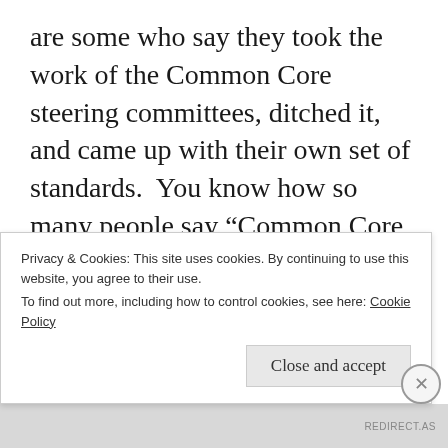are some who say they took the work of the Common Core steering committees, ditched it, and came up with their own set of standards.  You know how so many people say “Common Core sucks” and “It’s federal intrustion” and all that stuff?  They are right.  I believe it was intentionally designed to be messed up.  And the tests based off it, like the Smarter Balanced Assessment and
Privacy & Cookies: This site uses cookies. By continuing to use this website, you agree to their use.
To find out more, including how to control cookies, see here: Cookie Policy
Close and accept
REDIRECT.AS